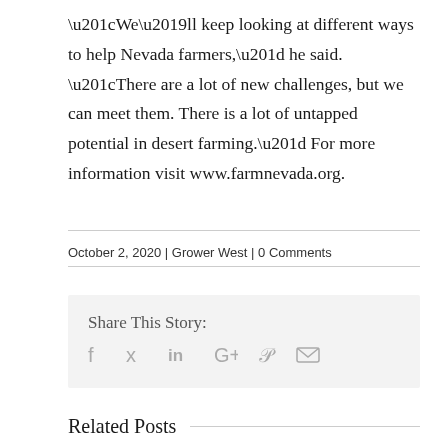“We’ll keep looking at different ways to help Nevada farmers,” he said. “There are a lot of new challenges, but we can meet them. There is a lot of untapped potential in desert farming.” For more information visit www.farmnevada.org.
October 2, 2020  |  Grower West  |  0 Comments
Share This Story:
Related Posts